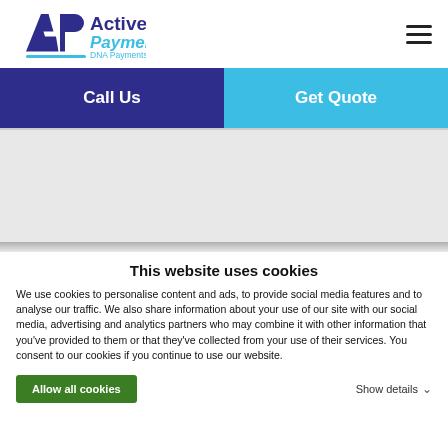[Figure (logo): Active Payments logo with AP monogram and text 'Active Payments DNA Payments Group']
Call Us
Get Quote
[Figure (other): Gray hero/banner area with light background]
This website uses cookies
We use cookies to personalise content and ads, to provide social media features and to analyse our traffic. We also share information about your use of our site with our social media, advertising and analytics partners who may combine it with other information that you've provided to them or that they've collected from your use of their services. You consent to our cookies if you continue to use our website.
Allow all cookies
Show details